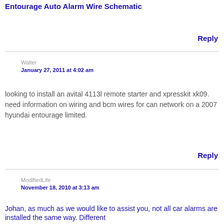Entourage Auto Alarm Wire Schematic
Reply
Walter
January 27, 2011 at 4:02 am
looking to install an avital 4113l remote starter and xpresskit xk09. need information on wiring and bcm wires for can network on a 2007 hyundai entourage limited.
Reply
ModifiedLife
November 18, 2010 at 3:13 am
Johan, as much as we would like to assist you, not all car alarms are installed the same way. Different